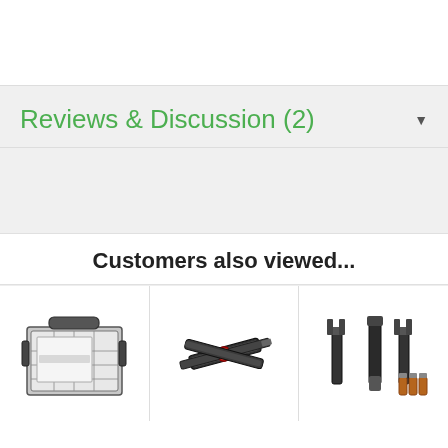Reviews & Discussion (2)
Customers also viewed...
[Figure (photo): Multi-tool or portable container/organizer product image]
[Figure (photo): Multi-tool or bike tool with red accent]
[Figure (photo): Tool set or mounting bracket kit with batteries]